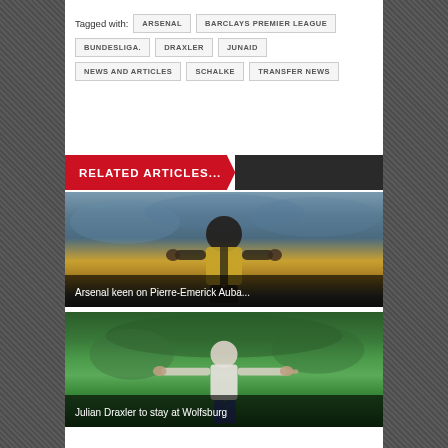Tagged with: ARSENAL  BARCLAYS PREMIER LEAGUE  BUNDESLIGA.  DRAXLER  JUNAID  NEWS AND ARTICLES  SCHALKE  TRANSFER NEWS
RELATED ARTICLES...
[Figure (photo): Football player in yellow/black Borussia Dortmund jersey celebrating]
Arsenal keen on Pierre-Emerick Auba...
[Figure (photo): Football player in white jersey with arms outstretched celebrating]
Julian Draxler to stay at Wolfsburg